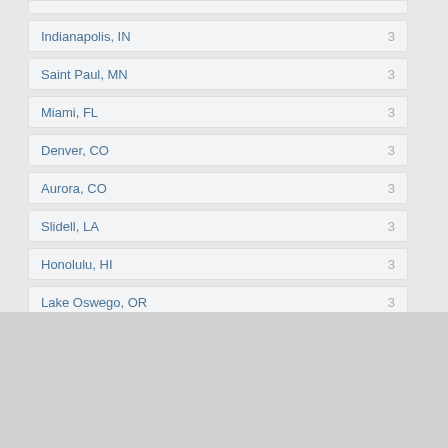Indianapolis, IN  3
Saint Paul, MN  3
Miami, FL  3
Denver, CO  3
Aurora, CO  3
Slidell, LA  3
Honolulu, HI  3
Lake Oswego, OR  3
All rights reserved | WaiterJobs.net by Promoveo Limited | 2021
Partners: aerojobs.net | vvipflightattendant.com